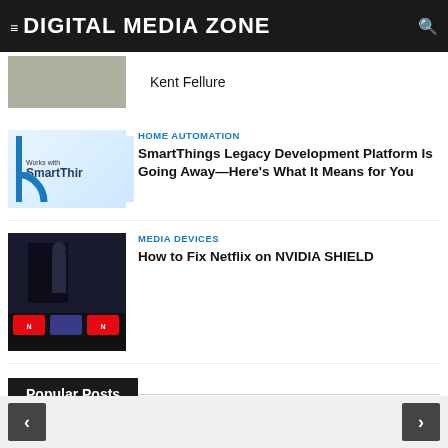≡DIGITAL MEDIA ZONE 🔍
Kent Fellure
[Figure (photo): SmartThings logo thumbnail with blue accent]
HOME AUTOMATION
SmartThings Legacy Development Platform Is Going Away—Here's What It Means for You
[Figure (screenshot): Dark TV screen showing Netflix and streaming app tiles on NVIDIA SHIELD]
MEDIA DEVICES
How to Fix Netflix on NVIDIA SHIELD
Popular Posts
[Figure (photo): SmartThings logo thumbnail with blue accent]
HOME AUTOMATION
SmartThings Legacy Development Platform Is Going Away—Here's What It Means for You
< >